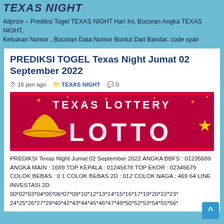TEXAS NIGHT
4dprize – Prediksi Togel TEXAS NIGHT Hari Ini, Bocoran Angka TEXAS NIGHT, Keluaran Nomor , Bocoran Data Nomor Buntut Dari Bandar, code syair
PREDIKSI TOGEL Texas Night Jumat 02 September 2022
16 jam ago  TEXAS NIGHT  0
[Figure (photo): Texas Lottery promotional banner image with red/magenta background, golden cowboy hat, and large stylized 'LOTTO' text in white]
PREDIKSI Texas Night Jumat 02 September 2022 ANGKA BBFS : 01235689 ANGKA MAIN : 1689 TOP KEPALA : 01245678 TOP EKOR : 02345679 COLOK BEBAS : 0 1 COLOK BEBAS 2D : 012 COLOK NAGA : 469 64 LINE INVESTASI 2D 00*02*03*04*05*06*07*09*10*12*13*14*15*16*17*19*20*22*23* 24*25*26*27*29*40*42*43*44*45*46*47*49*50*52*53*54*55*56*